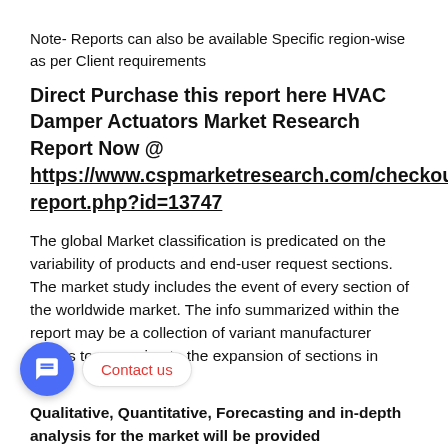Note- Reports can also be available Specific region-wise as per Client requirements
Direct Purchase this report here HVAC Damper Actuators Market Research Report Now @ https://www.cspmarketresearch.com/checkout-report.php?id=13747
The global Market classification is predicated on the variability of products and end-user request sections. The market study includes the event of every section of the worldwide market. The info summarized within the report may be a collection of variant manufacturer bodies to approximate the expansion of sections in future
Qualitative, Quantitative, Forecasting and in-depth analysis for the market will be provided